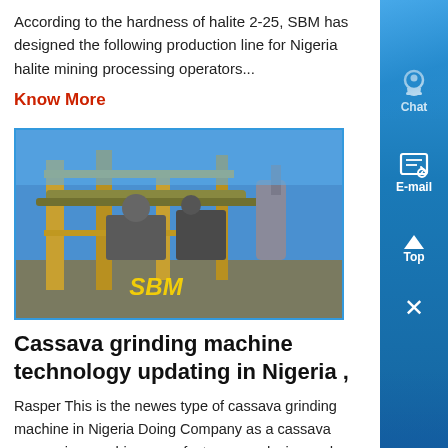According to the hardness of halite 2-25, SBM has designed the following production line for Nigeria halite mining processing operators...
Know More
[Figure (photo): Industrial mining/processing equipment facility with yellow structural framework and blue sky background, with 'SBM' text overlay in yellow]
Cassava grinding machine technology updating in Nigeria ,
Rasper This is the newes type of cassava grinding machine in Nigeria Doing Company as a cassava processing machine manufacturer, we design and manufacturer a high efficient raspe based on absorbing advanced technology from home and abroa and the combination of production experience The grinding